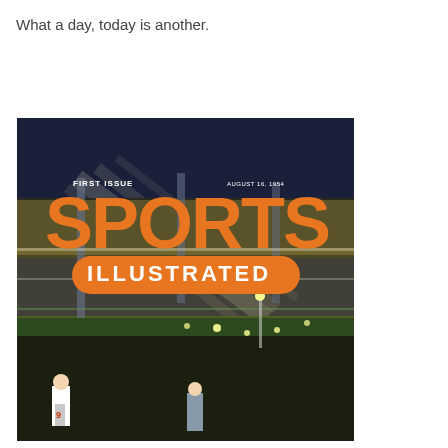What a day, today is another.
[Figure (photo): Cover of the first issue of Sports Illustrated magazine, August 16, 1954, showing a night baseball game at a stadium packed with fans, with the large orange 'SPORTS' text at the top and 'ILLUSTRATED' in an orange banner below it. Text reads 'FIRST ISSUE' and 'AUGUST 16, 1954'.]